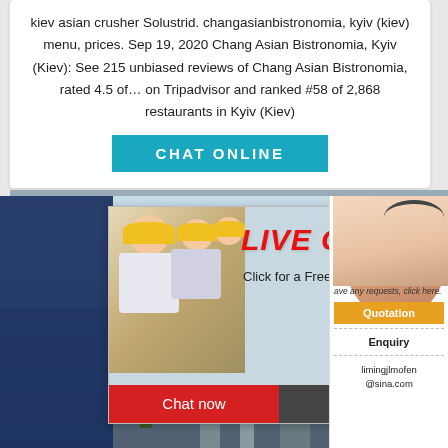kiev asian crusher Solustrid. changasianbistronomia, kyiv (kiev) menu, prices. Sep 19, 2020 Chang Asian Bistronomia, Kyiv (Kiev): See 215 unbiased reviews of Chang Asian Bistronomia, rated 4.5 of… on Tripadvisor and ranked #58 of 2,868 restaurants in Kyiv (Kiev)
[Figure (screenshot): CHAT ONLINE button — teal/cyan rectangular button with white bold uppercase text]
[Figure (screenshot): Live chat popup overlay showing workers in yellow hard hats with LIVE CHAT heading in red italic text, 'Click for a Free Consultation' subtitle, Chat now (red) and Chat later (dark) buttons. Right side shows a woman with headset. Additional right sidebar with Quotation (orange), Enquiry, and limingjlmofen@sina.com contact info.]